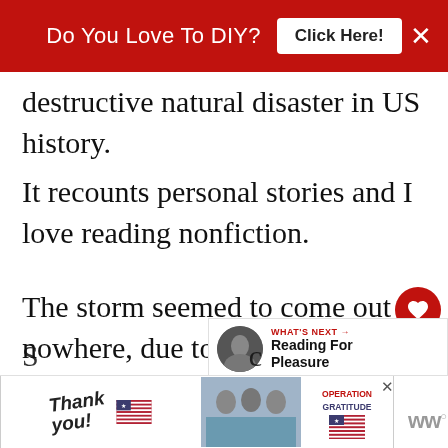[Figure (other): Red advertisement banner at top with text 'Do You Love To DIY?' and 'Click Here!' button and X close button]
destructive natural disaster in US history.
It recounts personal stories and I love reading nonfiction.
The storm seemed to come out of nowhere, due to the primitive weather predicting technology of the day.
[Figure (other): Heart icon (favorite) and share icon on the right side]
[Figure (other): What's Next panel with circular photo thumbnail and 'Reading For Pleasure' label]
S... c...
[Figure (other): Bottom advertisement banner: 'Thank you!' text with American flag graphic, nurses photo, Operation Gratitude logo, and X close button. WW logo on far right.]